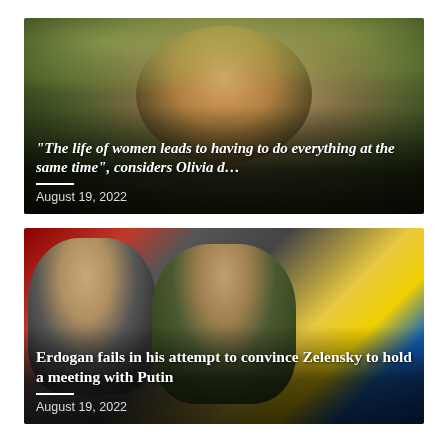[Figure (photo): Woman with long brown hair smiling in a tree-lined alley, bokeh background of green trees]
“The life of women leads to having to do everything at the same time”, considers Olivia d…
August 19, 2022
[Figure (photo): Three men standing together: Erdogan on left, Zelensky in center in olive green shirt, Guterres on right, with Turkish and Ukrainian flags in background]
Erdogan fails in his attempt to convince Zelensky to hold a meeting with Putin
August 19, 2022